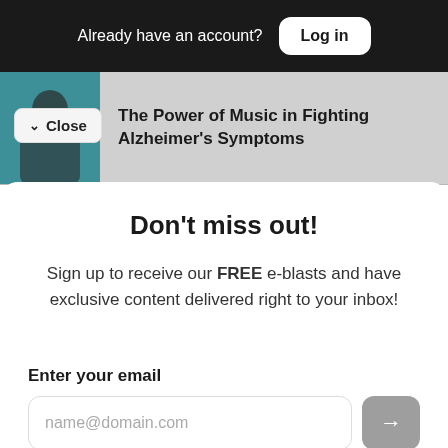Already have an account? Log in
The Power of Music in Fighting Alzheimer's Symptoms
Close
Don't miss out!
Sign up to receive our FREE e-blasts and have exclusive content delivered right to your inbox!
Enter your email
name@domain.com
OR SIGN UP WITH